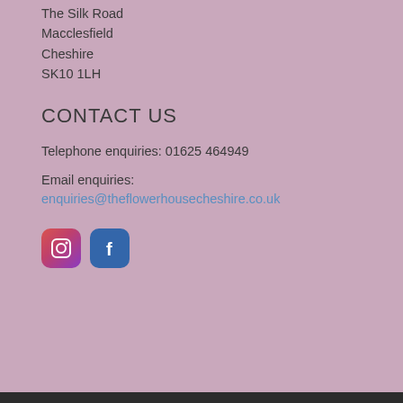The Silk Road
Macclesfield
Cheshire
SK10 1LH
CONTACT US
Telephone enquiries: 01625 464949
Email enquiries:
enquiries@theflowerhousecheshire.co.uk
[Figure (logo): Instagram and Facebook social media icon buttons]